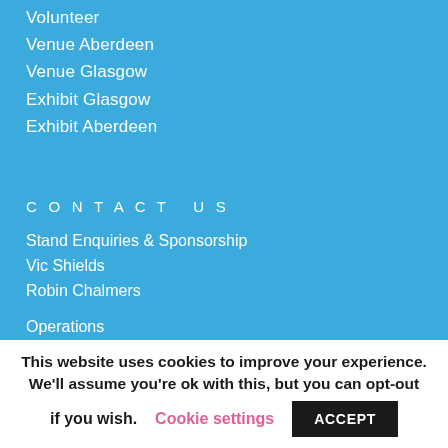Volunteer
Venue Aberdeen
Venue Glasgow
Exhibit Glasgow
Exhibit Aberdeen
CONTACT US
Stand Enquiries & Sponsorship
Vic Shields
Robin Chalmers
Operations
Jennifer Singleton
This website uses cookies to improve your experience. We'll assume you're ok with this, but you can opt-out if you wish. Cookie settings ACCEPT